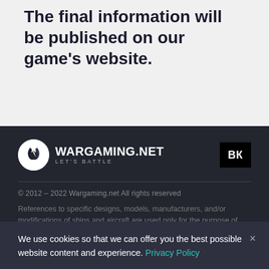The final information will be published on our game's website.
[Figure (logo): Wargaming.net Let's Battle logo with white circle and lightning bolt icon, and VK social media button]
© 2012 – 2022 Wargaming.net All rights reserved

References to specific designs, models, manufacturers, and/or modifications of ships and aircraft are used only for the purpose of historical consistency and do not assume any funding or other
We use cookies so that we can offer you the best possible website content and experience. Privacy Policy